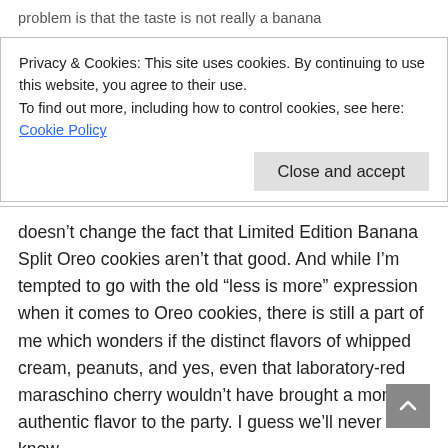problem is that the taste is not really a banana
Privacy & Cookies: This site uses cookies. By continuing to use this website, you agree to their use.
To find out more, including how to control cookies, see here: Cookie Policy
Close and accept
doesn’t change the fact that Limited Edition Banana Split Oreo cookies aren’t that good. And while I’m tempted to go with the old “less is more” expression when it comes to Oreo cookies, there is still a part of me which wonders if the distinct flavors of whipped cream, peanuts, and yes, even that laboratory-red maraschino cherry wouldn’t have brought a more authentic flavor to the party. I guess we’ll never know.
(Nutrition Facts – 2 cookies – 150 calories, 60 calories from fat, 7 grams of fat, 2 grams of saturated fat, 0